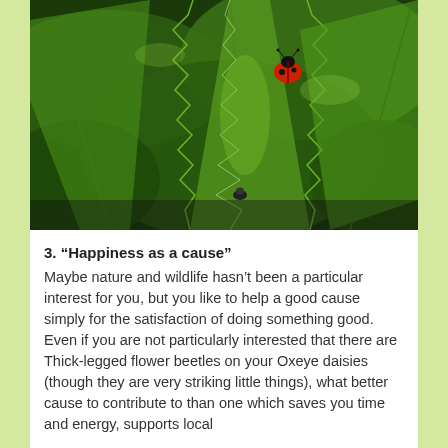[Figure (photo): Close-up photo of a ladybird (ladybug) with red and black wings sitting on green serrated leaves, likely nettles, in natural light.]
3. “Happiness as a cause”
Maybe nature and wildlife hasn’t been a particular interest for you, but you like to help a good cause simply for the satisfaction of doing something good. Even if you are not particularly interested that there are Thick-legged flower beetles on your Oxeye daisies (though they are very striking little things), what better cause to contribute to than one which saves you time and energy, supports local